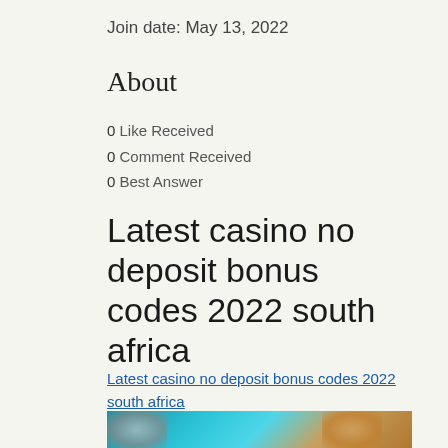Join date: May 13, 2022
About
0 Like Received
0 Comment Received
0 Best Answer
Latest casino no deposit bonus codes 2022 south africa
Latest casino no deposit bonus codes 2022 south africa
[Figure (photo): Blurred casino-related image with teal and warm tone colors]